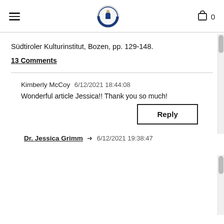[hamburger menu] [logo] [cart icon] 0
Südtiroler Kulturinstitut, Bozen, pp. 129-148.
13 Comments
Kimberly McCoy  6/12/2021 18:44:08
Wonderful article Jessica!! Thank you so much!
Reply
Dr. Jessica Grimm  → 6/12/2021 19:38:47